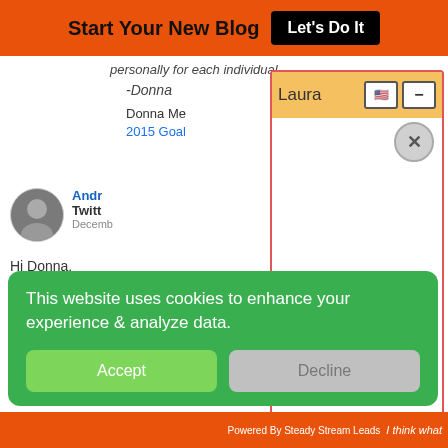Start Your New Blog  Let's Do It
personally for each individual.
-Donna
Donna Me
2015 Goal
Andr
Twitt
Decemb
Hi Donna,
[Figure (screenshot): Chat popup overlay with orange/gold header showing 'Laura', flag icon button, minus button, close X button, and white empty chat body area. Border is red/pink.]
This website uses cookies to enhance your experience & analyze data.
Accept
Decline
Powered By Steady Stream Leads  I think what